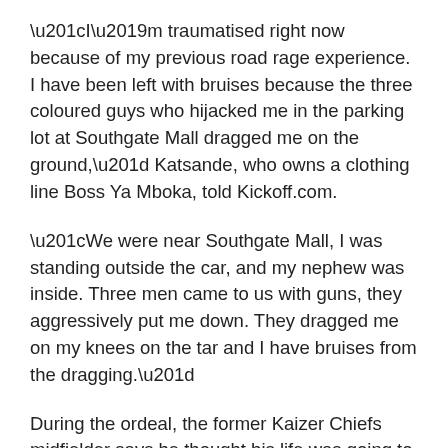“I’m traumatised right now because of my previous road rage experience. I have been left with bruises because the three coloured guys who hijacked me in the parking lot at Southgate Mall dragged me on the ground,” Katsande, who owns a clothing line Boss Ya Mboka, told Kickoff.com.
“We were near Southgate Mall, I was standing outside the car, and my nephew was inside. Three men came to us with guns, they aggressively put me down. They dragged me on my knees on the tar and I have bruises from the dragging.”
During the ordeal, the former Kaizer Chiefs midfielder says he thought his life was going to end after he felt the gun at the back of his head.
“I could feel the barrel of a gun at the back of my head...